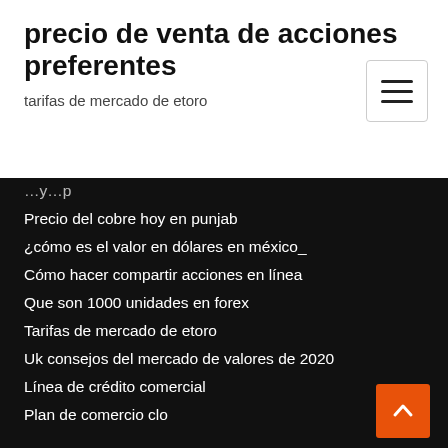precio de venta de acciones preferentes
tarifas de mercado de etoro
Precio del cobre hoy en punjab
¿cómo es el valor en dólares en méxico_
Cómo hacer compartir acciones en línea
Que son 1000 unidades en forex
Tarifas de mercado de etoro
Uk consejos del mercado de valores de 2020
Línea de crédito comercial
Plan de comercio clo